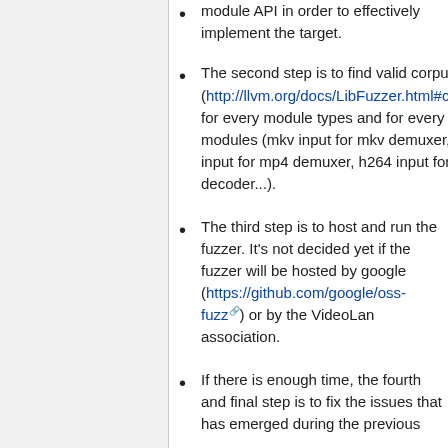The second step is to find valid corpus (http://llvm.org/docs/LibFuzzer.html#corpus) for every module types and for every modules (mkv input for mkv demuxer, mp4 input for mp4 demuxer, h264 input for h264 decoder...).
The third step is to host and run the fuzzer. It's not decided yet if the fuzzer will be hosted by google (https://github.com/google/oss-fuzz) or by the VideoLan association.
If there is enough time, the fourth and final step is to fix the issues that has emerged during the previous